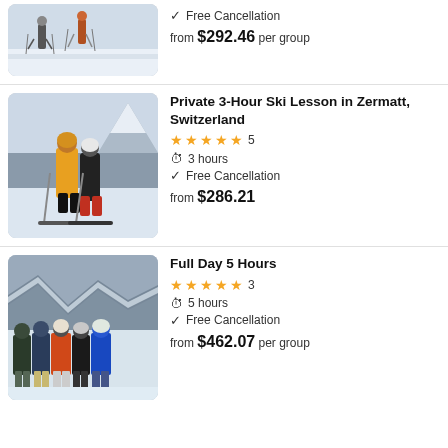[Figure (photo): Partial view of skiers on snow, cropped at top]
Free Cancellation
from $292.46 per group
[Figure (photo): Two people in ski gear posing in Zermatt with mountain backdrop]
Private 3-Hour Ski Lesson in Zermatt, Switzerland
5 stars  5
3 hours
Free Cancellation
from $286.21
[Figure (photo): Group of five people in ski gear posing in snow]
Full Day 5 Hours
5 stars  3
5 hours
Free Cancellation
from $462.07 per group